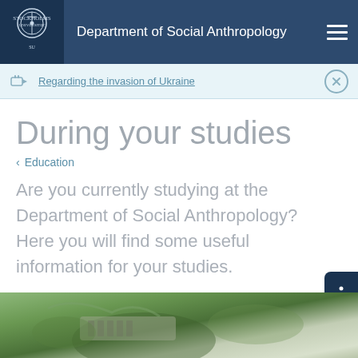Department of Social Anthropology
Regarding the invasion of Ukraine
During your studies
< Education
Are you currently studying at the Department of Social Anthropology? Here you will find some useful information for your studies.
[Figure (photo): Photo showing hands near a keyboard or device on a desk, viewed from above, blurred/bokeh background with green tones]